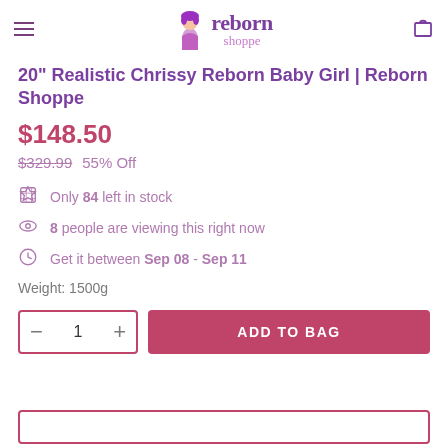Reborn Shoppe — navigation header with logo
20" Realistic Chrissy Reborn Baby Girl | Reborn Shoppe
$148.50
$329.99  55% Off
Only 84 left in stock
8 people are viewing this right now
Get it between Sep 08 - Sep 11
Weight: 1500g